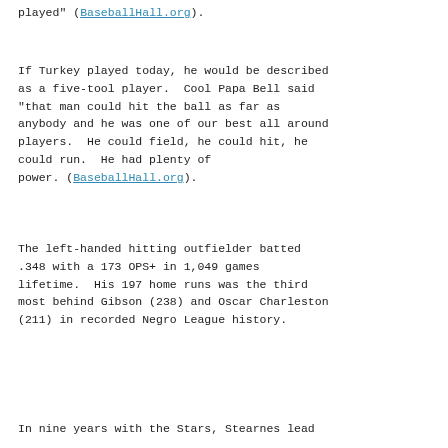played" (BaseballHall.org).
If Turkey played today, he would be described as a five-tool player.  Cool Papa Bell said "that man could hit the ball as far as anybody and he was one of our best all around players.  He could field, he could hit, he could run.  He had plenty of power. (BaseballHall.org).
The left-handed hitting outfielder batted .348 with a 173 OPS+ in 1,049 games lifetime.  His 197 home runs was the third most behind Gibson (238) and Oscar Charleston (211) in recorded Negro League history.
In nine years with the Stars, Stearnes lead